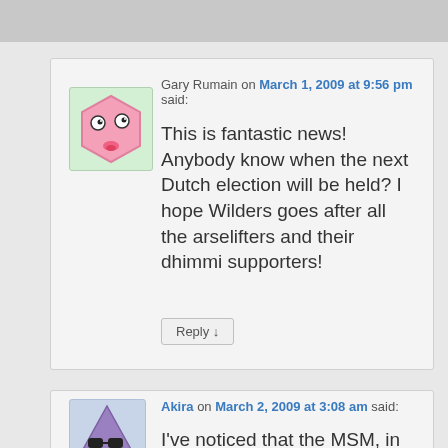Gary Rumain on March 1, 2009 at 9:56 pm said: This is fantastic news! Anybody know when the next Dutch election will be held? I hope Wilders goes after all the arselifters and their dhimmi supporters!
Akira on March 2, 2009 at 3:08 am said: I've noticed that the MSM, in their